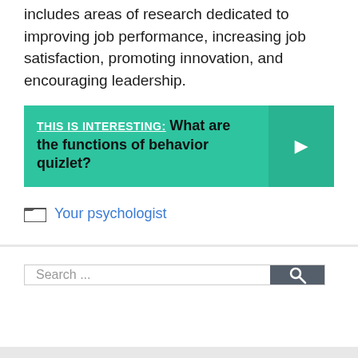The study of organizational behavior includes areas of research dedicated to improving job performance, increasing job satisfaction, promoting innovation, and encouraging leadership.
[Figure (infographic): Green banner with 'THIS IS INTERESTING:' label in white underlined bold text, followed by bold black text 'What are the functions of behavior quizlet?' with a right-arrow chevron on the right side on a darker green background.]
Your psychologist
[Figure (screenshot): Search bar with placeholder text 'Search ...' and a dark gray search button with magnifying glass icon.]